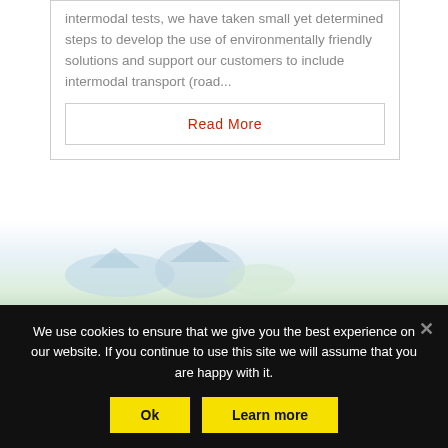intermodal tests, we have taken small yet determined steps to develop the use of environmentally friendly solutions and support our customers to include intermodal transport (road...
Read More
[Figure (illustration): Background decorative image with light blue and green tones suggesting environmental or transport theme]
We use cookies to ensure that we give you the best experience on our website. If you continue to use this site we will assume that you are happy with it.
Ok
Learn more